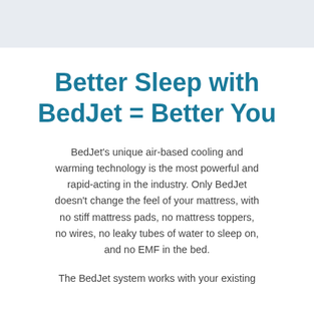Better Sleep with BedJet = Better You
BedJet's unique air-based cooling and warming technology is the most powerful and rapid-acting in the industry. Only BedJet doesn't change the feel of your mattress, with no stiff mattress pads, no mattress toppers, no wires, no leaky tubes of water to sleep on, and no EMF in the bed.
The BedJet system works with your existing